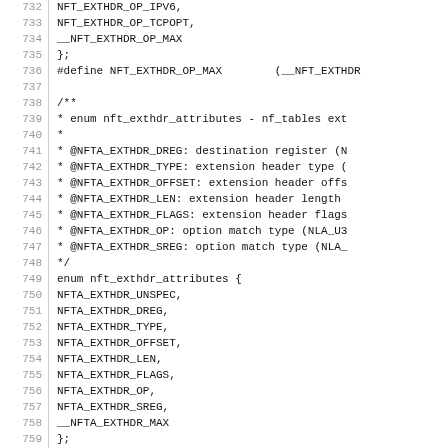[Figure (screenshot): Source code listing showing C enum and #define declarations for NFT extension header operations and attributes, lines 732-762]